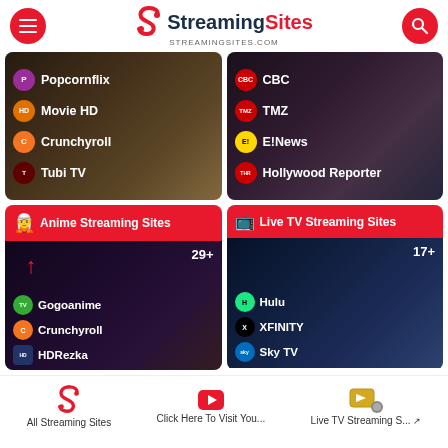StreamingSites.com - header navigation
[Figure (screenshot): Card showing free movie streaming sites: Popcornflix, Movie HD, Crunchyroll, Tubi TV against popcorn background]
[Figure (screenshot): Card showing entertainment news sites: CBC, TMZ, E!News, Hollywood Reporter against red carpet background]
[Figure (screenshot): Anime Streaming Sites category card showing 29+ sites: Gogoanime, Crunchyroll, HDRezka]
[Figure (screenshot): Live TV Streaming Sites category card showing 17+ sites: Hulu, XFINITY, Sky TV]
All Streaming Sites | Click Here To Visit You... | Live TV Streaming S...